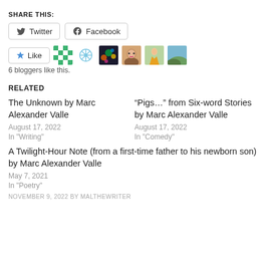SHARE THIS:
Twitter  Facebook
[Figure (screenshot): Like button with star icon, followed by 6 blogger avatar thumbnails]
6 bloggers like this.
RELATED
The Unknown by Marc Alexander Valle
August 17, 2022
In "Writing"
“Pigs…” from Six-word Stories by Marc Alexander Valle
August 17, 2022
In "Comedy"
A Twilight-Hour Note (from a first-time father to his newborn son) by Marc Alexander Valle
May 7, 2021
In "Poetry"
NOVEMBER 9, 2022 BY MALTHEWRITER